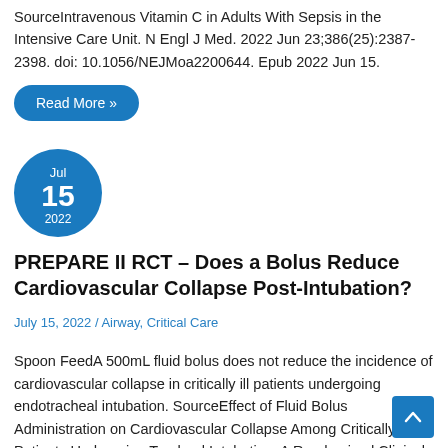SourceIntravenous Vitamin C in Adults With Sepsis in the Intensive Care Unit. N Engl J Med. 2022 Jun 23;386(25):2387-2398. doi: 10.1056/NEJMoa2200644. Epub 2022 Jun 15.
Read More »
Jul 15 2022
PREPARE II RCT – Does a Bolus Reduce Cardiovascular Collapse Post-Intubation?
July 15, 2022 / Airway, Critical Care
Spoon FeedA 500mL fluid bolus does not reduce the incidence of cardiovascular collapse in critically ill patients undergoing endotracheal intubation. SourceEffect of Fluid Bolus Administration on Cardiovascular Collapse Among Critically Ill Patients Undergoing Tracheal Intubation: A Randomized Clinical Trial. JAMA. 2022 Jun 16.